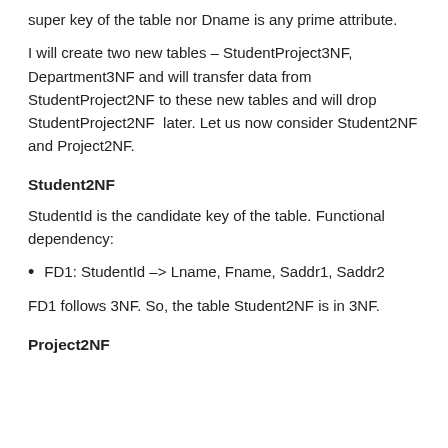super key of the table nor Dname is any prime attribute.
I will create two new tables – StudentProject3NF, Department3NF and will transfer data from StudentProject2NF to these new tables and will drop StudentProject2NF  later. Let us now consider Student2NF and Project2NF.
Student2NF
StudentId is the candidate key of the table. Functional dependency:
FD1: StudentId –> Lname, Fname, Saddr1, Saddr2
FD1 follows 3NF. So, the table Student2NF is in 3NF.
Project2NF